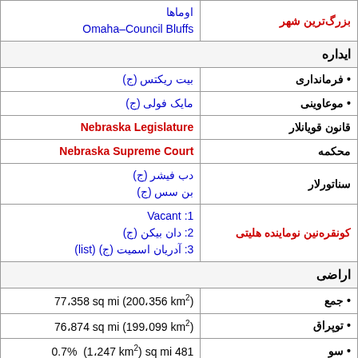| بزرگ‌ترین شهر | اوماها / Omaha–Council Bluffs |
| ایداره |  |
| • فرمانداری | بیت ریکتس (ج) |
| • موعاوینی | مایک فولی (ج) |
| قانون قویانلار | Nebraska Legislature |
| محکمه | Nebraska Supreme Court |
| سناتورلار | دب فیشر (ج) / بن سس (ج) |
| کونقره‌نین نوماینده هلیتی | 1: Vacant / 2: دان بیکن (ج) / 3: آدریان اسمیت (ج) (list) |
| اراضی |  |
| • جمع | 77،358 sq mi (200،356 km²) |
| • توپراق | 76،874 sq mi (199،099 km²) |
| • سو | 481 sq mi (1،247 km²)  0.7% |
| مساحت درجه‌سی | 16th |
| Dimensions |  |
| • اوزونلوق | 430 mi (690 km) |
| • اتن | 210 mi (340 km) |
| اوچالیه | 2،600 ft (790 m) |